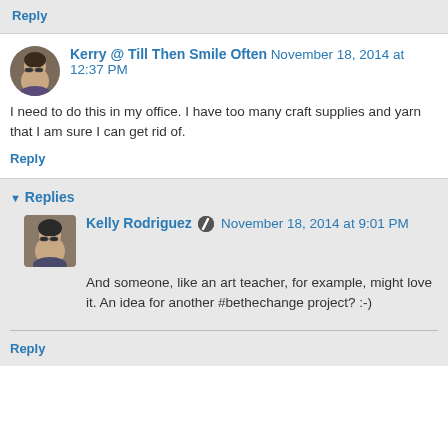Reply
Kerry @ Till Then Smile Often  November 18, 2014 at 12:37 PM
I need to do this in my office. I have too many craft supplies and yarn that I am sure I can get rid of.
Reply
Replies
Kelly Rodriguez  November 18, 2014 at 9:01 PM
And someone, like an art teacher, for example, might love it. An idea for another #bethechange project? :-)
Reply